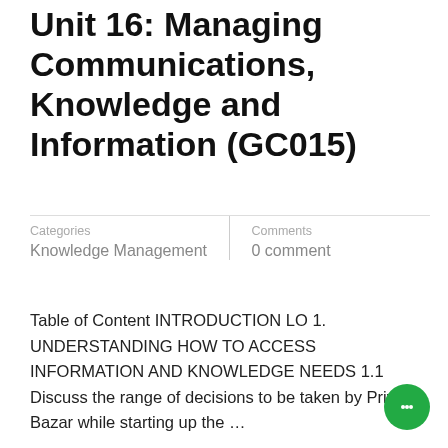Unit 16: Managing Communications, Knowledge and Information (GC015)
Categories
Knowledge Management
Comments
0 comment
Table of Content INTRODUCTION LO 1. UNDERSTANDING HOW TO ACCESS INFORMATION AND KNOWLEDGE NEEDS 1.1 Discuss the range of decisions to be taken by Priyo Bazar while starting up the …
Read More